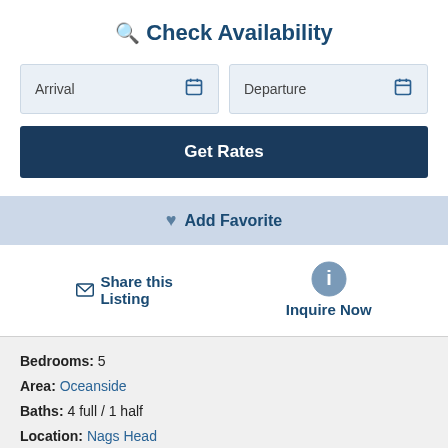Check Availability
Arrival
Departure
Get Rates
Add Favorite
Share this Listing
Inquire Now
Bedrooms: 5
Area: Oceanside
Baths: 4 full / 1 half
Location: Nags Head